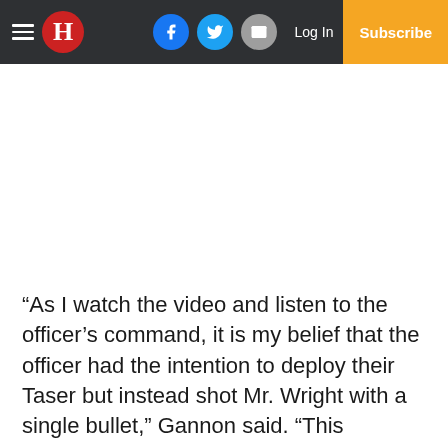H | Facebook | Twitter | Email | Log In | Subscribe
“As I watch the video and listen to the officer’s command, it is my belief that the officer had the intention to deploy their Taser but instead shot Mr. Wright with a single bullet,” Gannon said. “This appears to me from what I viewed and the officer’s reaction in distress immediately after that this was